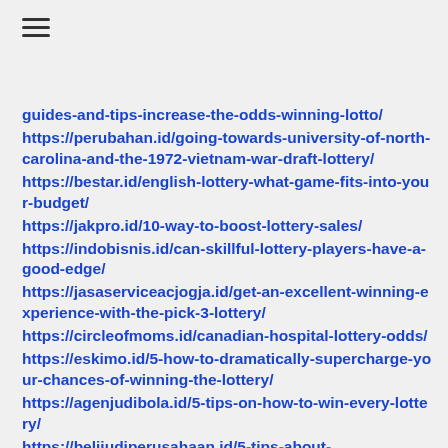[Figure (other): Hamburger menu icon (three horizontal lines)]
guides-and-tips-increase-the-odds-winning-lotto/
https://perubahan.id/going-towards-university-of-north-carolina-and-the-1972-vietnam-war-draft-lottery/
https://bestar.id/english-lottery-what-game-fits-into-your-budget/
https://jakpro.id/10-way-to-boost-lottery-sales/
https://indobisnis.id/can-skillful-lottery-players-have-a-good-edge/
https://jasaserviceacjogja.id/get-an-excellent-winning-experience-with-the-pick-3-lottery/
https://circleofmoms.id/canadian-hospital-lottery-odds/
https://eskimo.id/5-how-to-dramatically-supercharge-your-chances-of-winning-the-lottery/
https://agenjudibola.id/5-tips-on-how-to-win-every-lottery/
https://belijudiperusahaan.id/5-tips-about-